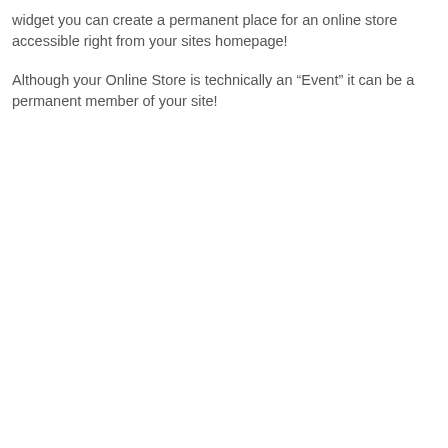widget you can create a permanent place for an online store accessible right from your sites homepage!
Although your Online Store is technically an “Event” it can be a permanent member of your site!